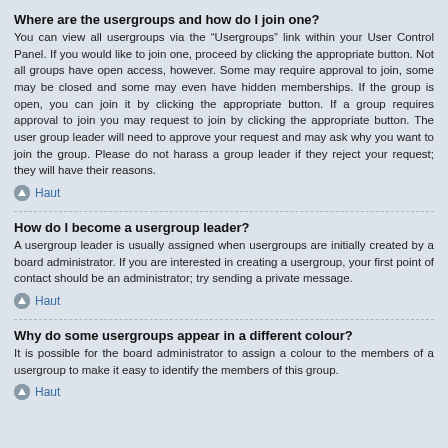Where are the usergroups and how do I join one?
You can view all usergroups via the “Usergroups” link within your User Control Panel. If you would like to join one, proceed by clicking the appropriate button. Not all groups have open access, however. Some may require approval to join, some may be closed and some may even have hidden memberships. If the group is open, you can join it by clicking the appropriate button. If a group requires approval to join you may request to join by clicking the appropriate button. The user group leader will need to approve your request and may ask why you want to join the group. Please do not harass a group leader if they reject your request; they will have their reasons.
Haut
How do I become a usergroup leader?
A usergroup leader is usually assigned when usergroups are initially created by a board administrator. If you are interested in creating a usergroup, your first point of contact should be an administrator; try sending a private message.
Haut
Why do some usergroups appear in a different colour?
It is possible for the board administrator to assign a colour to the members of a usergroup to make it easy to identify the members of this group.
Haut